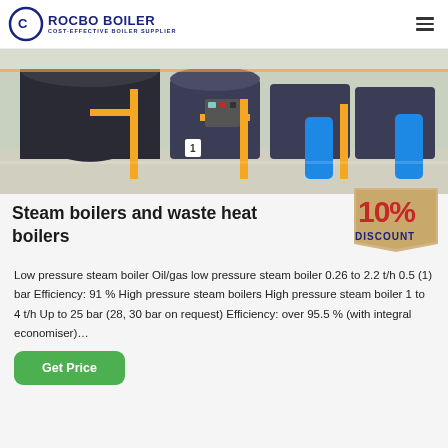ROCBO BOILER — COST-EFFECTIVE BOILER SUPPLIER
[Figure (photo): Industrial boiler room with multiple large steam boilers, yellow gas pipes, blue cylinders and control panels in a bright facility.]
Steam boilers and waste heat boilers
[Figure (other): 10% DISCOUNT badge in red and gold text on a tan background.]
Low pressure steam boiler Oil/gas low pressure steam boiler 0.26 to 2.2 t/h 0.5 (1) bar Efficiency: 91 % High pressure steam boilers High pressure steam boiler 1 to 4 t/h Up to 25 bar (28, 30 bar on request) Efficiency: over 95.5 % (with integral economiser)…
Get Price